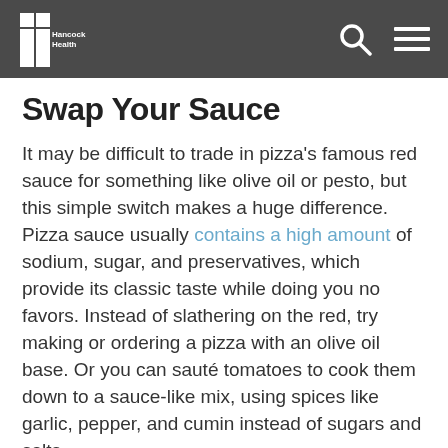HancockHealth
Swap Your Sauce
It may be difficult to trade in pizza's famous red sauce for something like olive oil or pesto, but this simple switch makes a huge difference. Pizza sauce usually contains a high amount of sodium, sugar, and preservatives, which provide its classic taste while doing you no favors. Instead of slathering on the red, try making or ordering a pizza with an olive oil base. Or you can sauté tomatoes to cook them down to a sauce-like mix, using spices like garlic, pepper, and cumin instead of sugars and salts.